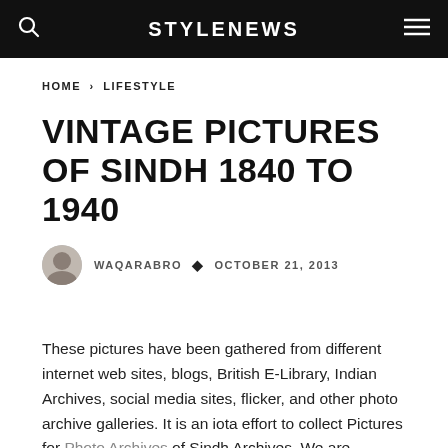STYLENEWS
HOME › LIFESTYLE
VINTAGE PICTURES OF SINDH 1840 TO 1940
WAQARABRO • OCTOBER 21, 2013
These pictures have been gathered from different internet web sites, blogs, British E-Library, Indian Archives, social media sites, flicker, and other photo archive galleries. It is an iota effort to collect Pictures for Photo Archives of Sindh Archives. We are tirelessly working to get more original pictures in printed form. For acquiring such photographic